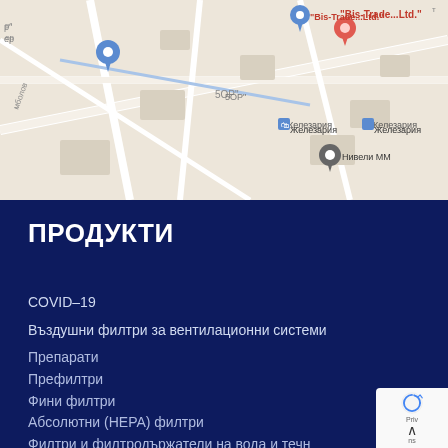[Figure (map): Google Maps screenshot showing street map with location pins for Bis-Trade Ltd, Железария (iron shop), Нивели ММ, and other landmarks in a Bulgarian city. Blue location pins and a red pin for Bis-Trade are visible.]
ПРОДУКТИ
COVID-19
Въздушни филтри за вентилационни системи
Препарати
Префилтри
Фини филтри
Абсолютни (HEPA) филтри
Филтри и филтродържатели на вода и течн
Омекотителни инсталации